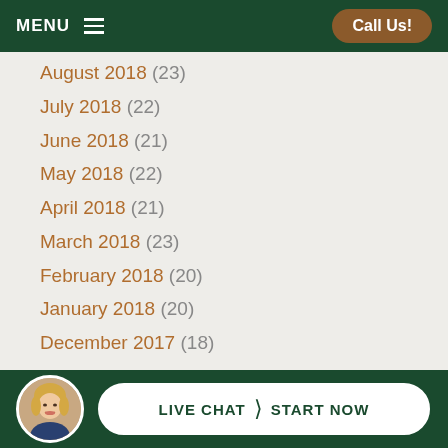MENU  |  Call Us!
August 2018 (23)
July 2018 (22)
June 2018 (21)
May 2018 (22)
April 2018 (21)
March 2018 (23)
February 2018 (20)
January 2018 (20)
December 2017 (18)
November 2017 (21)
October 2017 (22)
September 2017 (21)
August 2017 (23)
July 2017 (21)
[Figure (photo): Woman avatar with blonde hair in circular frame in bottom bar]
LIVE CHAT  START NOW